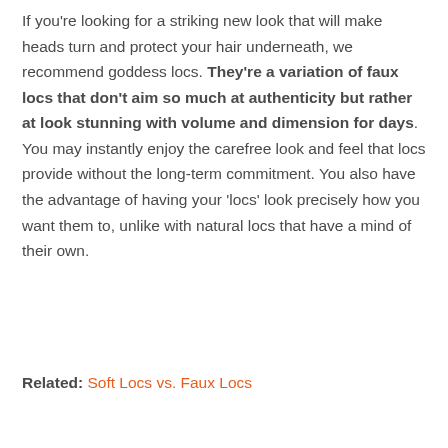If you're looking for a striking new look that will make heads turn and protect your hair underneath, we recommend goddess locs. They're a variation of faux locs that don't aim so much at authenticity but rather at look stunning with volume and dimension for days. You may instantly enjoy the carefree look and feel that locs provide without the long-term commitment. You also have the advantage of having your 'locs' look precisely how you want them to, unlike with natural locs that have a mind of their own.
Related: Soft Locs vs. Faux Locs